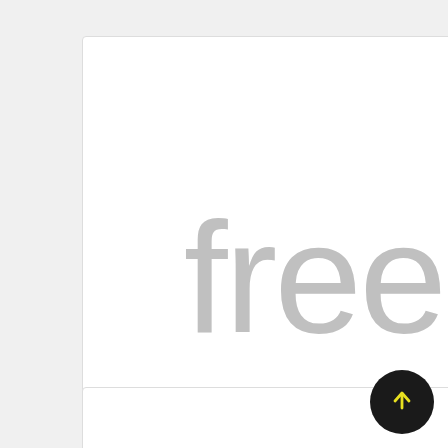[Figure (screenshot): Font preview card showing the word 'free' in Cantiga W01 Thin font, with font name, style label, and four action buttons (share, add, star, view).]
free
Cantiga W01 Thin
Style : Regular
[Figure (illustration): Scroll-to-top button: dark circle with yellow upward arrow.]